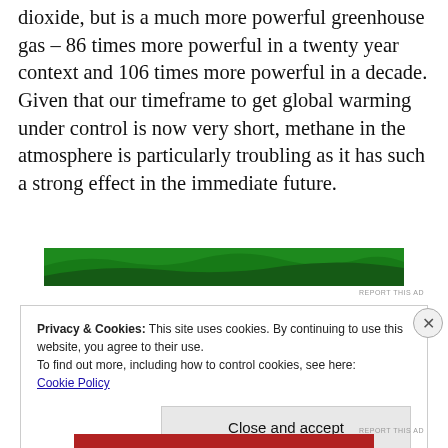dioxide, but is a much more powerful greenhouse gas – 86 times more powerful in a twenty year context and 106 times more powerful in a decade. Given that our timeframe to get global warming under control is now very short, methane in the atmosphere is particularly troubling as it has such a strong effect in the immediate future.
[Figure (other): Green advertisement banner]
REPORT THIS AD
Privacy & Cookies: This site uses cookies. By continuing to use this website, you agree to their use.
To find out more, including how to control cookies, see here:
Cookie Policy

Close and accept